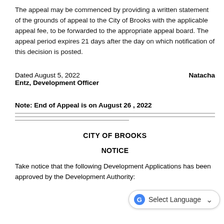The appeal may be commenced by providing a written statement of the grounds of appeal to the City of Brooks with the applicable appeal fee, to be forwarded to the appropriate appeal board. The appeal period expires 21 days after the day on which notification of this decision is posted.
Dated August 5, 2022   Natacha Entz, Development Officer
Note: End of Appeal is on August 26 , 2022
CITY OF BROOKS
NOTICE
Take notice that the following Development Applications has been approved by the Development Authority: